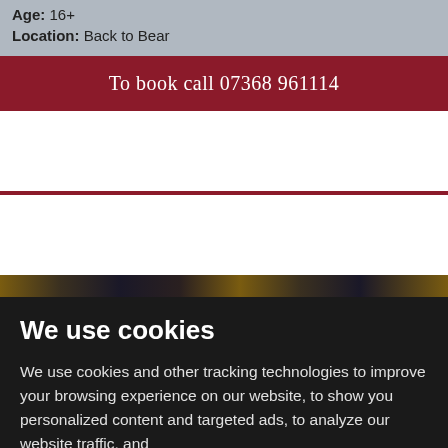Age: 16+ Location: Back to Bear
To book call 07368 961114
[Figure (photo): Photo strip showing people outdoors with foliage]
We use cookies
We use cookies and other tracking technologies to improve your browsing experience on our website, to show you personalized content and targeted ads, to analyze our website traffic, and